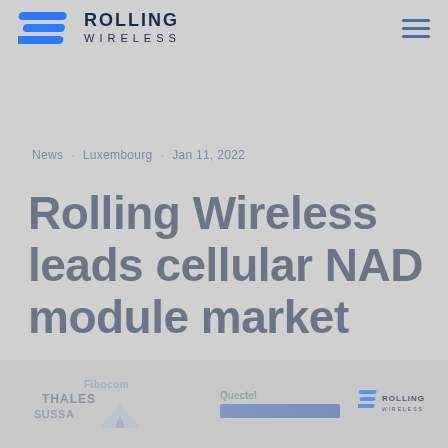[Figure (logo): Rolling Wireless logo with blue stylized signal icon and ROLLING WIRELESS wordmark in dark navy]
[Figure (other): Hamburger menu icon with three horizontal blue lines]
News · Luxembourg · Jan 11, 2022
Rolling Wireless leads cellular NAD module market
[Figure (other): Bottom banner showing competitor logos: Fibocom, THALES, SUSSA, Quectel, and Rolling Wireless with a blue bar chart element]